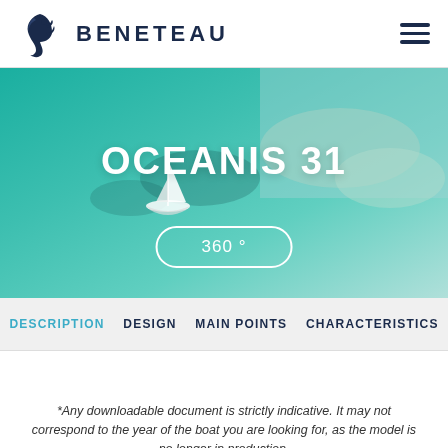[Figure (logo): Beneteau seahorse logo and brand name BENETEAU in dark navy uppercase letters]
[Figure (photo): Aerial view of a sailboat on turquoise shallow water with sandy bottom visible below. Text OCEANIS 31 in large white bold letters and a pill-shaped button reading 360° overlaid on the image.]
OCEANIS 31
360 °
DESCRIPTION  DESIGN  MAIN POINTS  CHARACTERISTICS
*Any downloadable document is strictly indicative. It may not correspond to the year of the boat you are looking for, as the model is no longer in production.